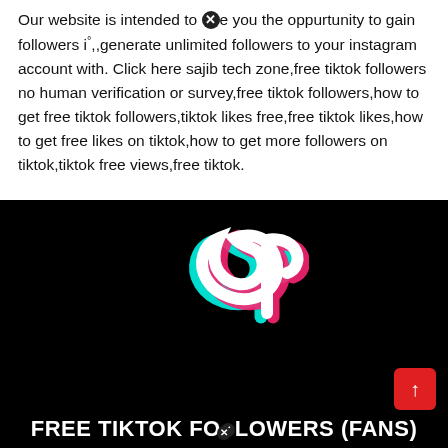Our website is intended to [X]e you the oppurtunity to gain followers i°,,generate unlimited followers to your instagram account with. Click here sajib tech zone,free tiktok followers no human verification or survey,free tiktok followers,how to get free tiktok followers,tiktok likes free,free tiktok likes,how to get free likes on tiktok,how to get more followers on tiktok,tiktok free views,free tiktok.
[Figure (photo): TikTok logo (musical note icon with cyan and pink glow effect) on black background, with text 'FREE TIKTOK FOLLOWERS (FANS)' at the bottom in white bold text, and a red scroll-to-top button at lower right.]